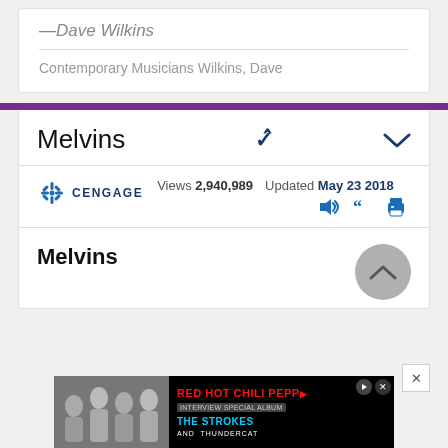—Dave Wilkins
Contemporary Musicians Wilkins, Dave
Melvins
Views 2,940,989   Updated May 23 2018
Melvins
[Figure (screenshot): Red Hot Chili Peppers advertisement banner with The Strokes and Thundercat text, black background with red title text and cyan subtitle]